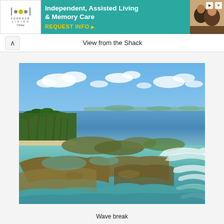[Figure (infographic): Advertisement banner for Codence Living (Assisted Living & Memory Care) in Olney. Teal background with text 'Independent, Assisted Living & Memory Care' and 'REQUEST INFO ▶' in yellow. Logo with circular dots on left, photo of two smiling people on right.]
View from the Shack
[Figure (photo): Coastal landscape photo showing a tropical island scene with palm trees on the left, rocky coral reef in the foreground with shallow clear turquoise water, mangrove-covered rocky outcrops in the middle, and open blue ocean with clouds in the background. Waves breaking on the right side.]
Wave break